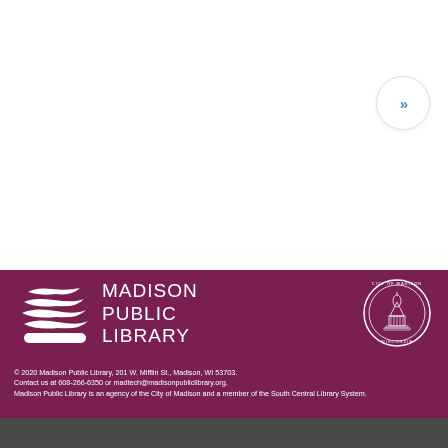[Figure (logo): Navigation button with double chevron arrows (>>) in a circular bordered button, top right of white section]
[Figure (logo): Madison Public Library logo: stacked white book/wave shapes with text 'MADISON PUBLIC LIBRARY' on maroon background]
[Figure (logo): City of Madison Wisconsin circular seal on maroon background]
© 2020 Madison Public Library, 201 W. Mifflin St., Madison, WI 53703. Contact us at 608-266-6350 or madtech@madisonpubliclibrary.org. Madison Public Library is an agency of the City of Madison and a member of the South Central Library System.